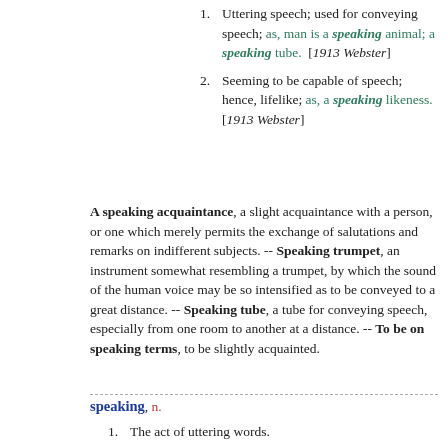1. Uttering speech; used for conveying speech; as, man is a speaking animal; a speaking tube.  [1913 Webster]
2. Seeming to be capable of speech; hence, lifelike; as, a speaking likeness. [1913 Webster]
A speaking acquaintance, a slight acquaintance with a person, or one which merely permits the exchange of salutations and remarks on indifferent subjects. -- Speaking trumpet, an instrument somewhat resembling a trumpet, by which the sound of the human voice may be so intensified as to be conveyed to a great distance. -- Speaking tube, a tube for conveying speech, especially from one room to another at a distance. -- To be on speaking terms, to be slightly acquainted.
speaking, n.
1. The act of uttering words.